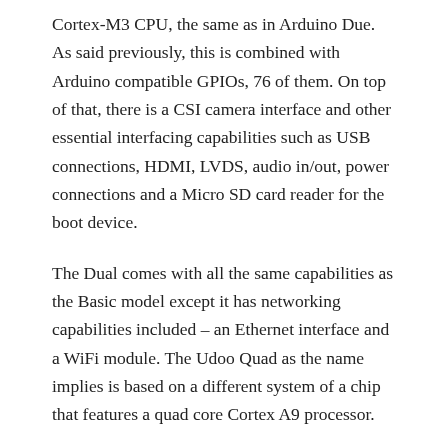Cortex-M3 CPU, the same as in Arduino Due. As said previously, this is combined with Arduino compatible GPIOs, 76 of them. On top of that, there is a CSI camera interface and other essential interfacing capabilities such as USB connections, HDMI, LVDS, audio in/out, power connections and a Micro SD card reader for the boot device.
The Dual comes with all the same capabilities as the Basic model except it has networking capabilities included – an Ethernet interface and a WiFi module. The Udoo Quad as the name implies is based on a different system of a chip that features a quad core Cortex A9 processor.
So, it is based on the Freescale i.Mx 6 Quad system on a chip that includes a Vivante GC320 GPU for 2D processing, a Vivante GC335 for Vector graphics processing and a